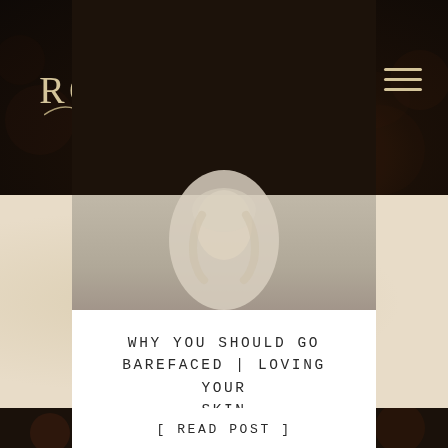ROYAL LUNE
[Figure (photo): Dark background with floral elements and a blurred figure of a person with long light hair, partial view showing bare shoulder]
WHY YOU SHOULD GO BAREFACED | LOVING YOUR SKIN
[ READ POST ]